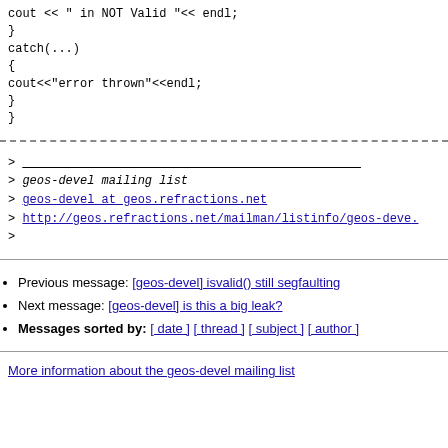cout << " in NOT Valid "<< endl;
}
catch(...)
{
cout<<"error thrown"<<endl;
}
}
> _______________________________________________
> geos-devel mailing list
> geos-devel at geos.refractions.net
> http://geos.refractions.net/mailman/listinfo/geos-devel
>
Previous message: [geos-devel] isvalid() still segfaulting
Next message: [geos-devel] is this a big leak?
Messages sorted by: [ date ] [ thread ] [ subject ] [ author ]
More information about the geos-devel mailing list